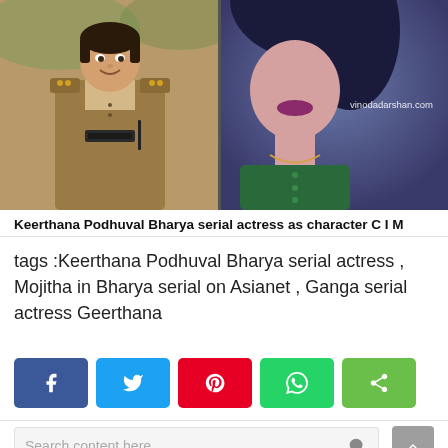[Figure (photo): Two side-by-side photos: left shows a woman in a police/khaki uniform smiling, right shows a woman in a dark green outfit with blue hair and purple lips, with watermark 'vinodadarshan.com']
Keerthana Podhuval Bharya serial actress as character C I M
tags :Keerthana Podhuval Bharya serial actress , Mojitha in Bharya serial on Asianet , Ganga serial actress Geerthana
[Figure (infographic): Social share buttons: Facebook (blue), Twitter (light blue), Pinterest (red), WhatsApp (green), Share (lime green)]